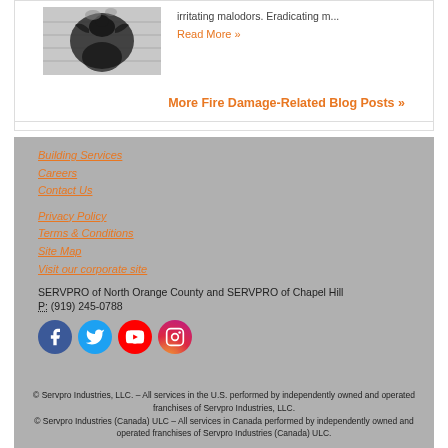[Figure (photo): Black and white photo of a bird on a house with fire/smoke damage visible on siding]
irritating malodors. Eradicating m...
Read More »
More Fire Damage-Related Blog Posts »
Building Services
Careers
Contact Us
Privacy Policy
Terms & Conditions
Site Map
Visit our corporate site
SERVPRO of North Orange County and SERVPRO of Chapel Hill
P: (919) 245-0788
[Figure (logo): Facebook icon]
[Figure (logo): Twitter icon]
[Figure (logo): YouTube icon]
[Figure (logo): Instagram icon]
© Servpro Industries, LLC. – All services in the U.S. performed by independently owned and operated franchises of Servpro Industries, LLC. © Servpro Industries (Canada) ULC – All services in Canada performed by independently owned and operated franchises of Servpro Industries (Canada) ULC.